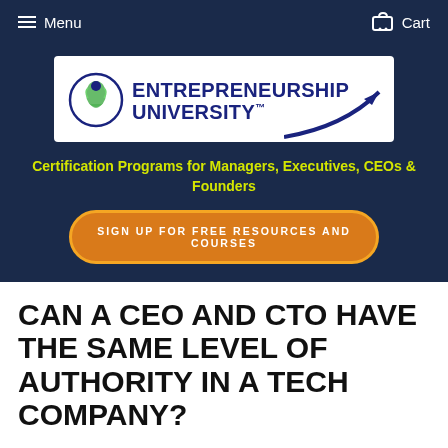Menu   Cart
[Figure (logo): Entrepreneurship University logo with circular icon and upward arrow, white background]
Certification Programs for Managers, Executives, CEOs & Founders
SIGN UP FOR FREE RESOURCES AND COURSES
CAN A CEO AND CTO HAVE THE SAME LEVEL OF AUTHORITY IN A TECH COMPANY?